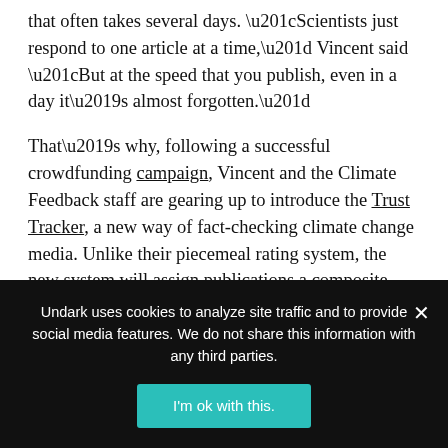that often takes several days. “Scientists just respond to one article at a time,” Vincent said “But at the speed that you publish, even in a day it’s almost forgotten.”
That’s why, following a successful crowdfunding campaign, Vincent and the Climate Feedback staff are gearing up to introduce the Trust Tracker, a new way of fact-checking climate change media. Unlike their piecemeal rating system, the new system will assign publications a composite score, based on all the reviews of articles from a single outlet.
Undark uses cookies to analyze site traffic and to provide social media features. We do not share this information with any third parties.